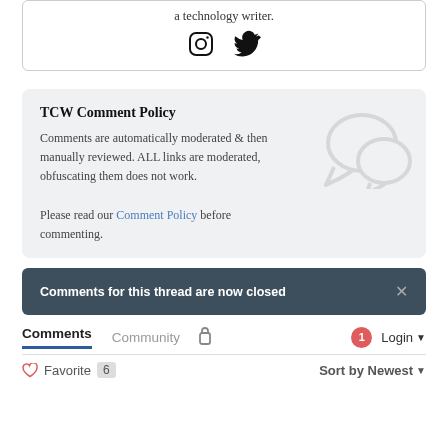a technology writer.
[Figure (illustration): Instagram and Twitter social media icons]
TCW Comment Policy
Comments are automatically moderated & then manually reviewed. ALL links are moderated, obfuscating them does not work.
Please read our Comment Policy before commenting.
Comments for this thread are now closed
Comments   Community   [lock icon]   [1 badge]   Login ▾
♡ Favorite  6        Sort by Newest ▾